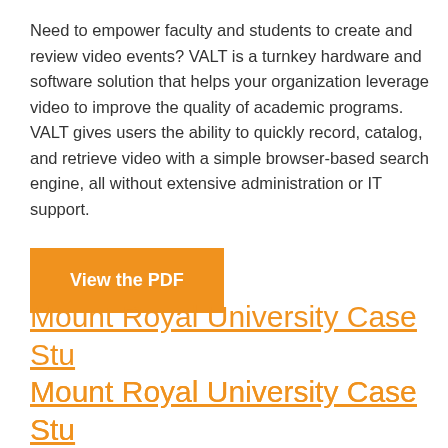Need to empower faculty and students to create and review video events? VALT is a turnkey hardware and software solution that helps your organization leverage video to improve the quality of academic programs. VALT gives users the ability to quickly record, catalog, and retrieve video with a simple browser-based search engine, all without extensive administration or IT support.
View the PDF
Mount Royal University Case Study